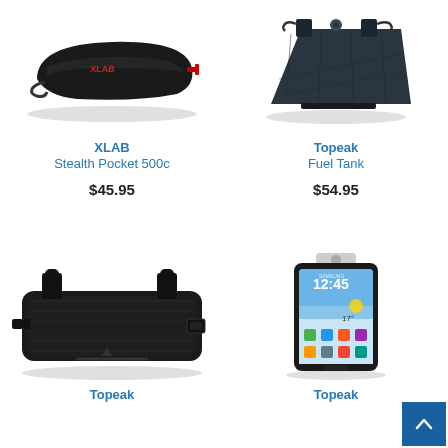[Figure (photo): XLAB Stealth Pocket 500c bicycle bag - black aerodynamic saddle bag with red zipper pull]
[Figure (photo): Topeak Fuel Tank bicycle frame bag - dark gray triangular frame bag with strap mounts]
XLAB
Stealth Pocket 500c
$45.95
Topeak
Fuel Tank
$54.95
[Figure (photo): Topeak bicycle frame bag - rectangular black bag with top tube mounts]
[Figure (photo): Topeak smartphone holder mounted on bicycle - Samsung Galaxy phone in protective clear case mount]
Topeak
Topeak